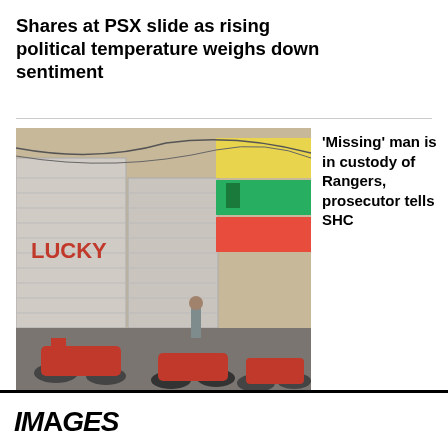Shares at PSX slide as rising political temperature weighs down sentiment
[Figure (photo): Street scene showing closed shops with metal shutters, motorcycles parked along a narrow road, and a person walking, typical of a market area in Rawalpindi during a shutdown/gathering]
'Missing' man is in custody of Rangers, prosecutor tells SHC
Traffic thrown out of gear as roads, markets remain closed in Rawalpindi during PTI's gathering
IMAGES